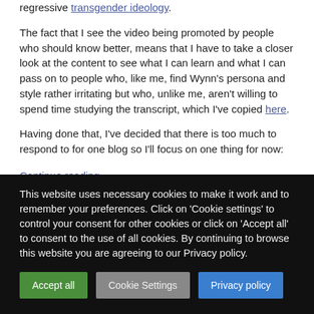regressive transgender ideology.
The fact that I see the video being promoted by people who should know better, means that I have to take a closer look at the content to see what I can learn and what I can pass on to people who, like me, find Wynn's persona and style rather irritating but who, unlike me, aren't willing to spend time studying the transcript, which I've copied here.
Having done that, I've decided that there is too much to respond to for one blog so I'll focus on one thing for now:
Continue reading →
This website uses necessary cookies to make it work and to remember your preferences. Click on 'Cookie settings' to control your consent for other cookies or click on 'Accept all' to consent to the use of all cookies. By continuing to browse this website you are agreeing to our Privacy policy.